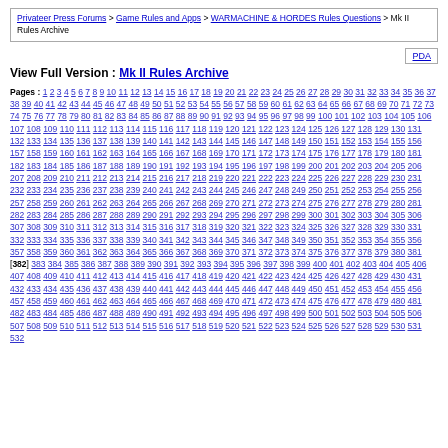Privateer Press Forums > Game Rules and Apps > WARMACHINE & HORDES Rules Questions > Mk II Rules Archive
View Full Version : Mk II Rules Archive
Pages : 1 2 3 4 5 6 7 8 9 10 11 12 13 14 15 16 17 18 19 20 21 22 23 24 25 26 27 28 29 30 31 32 33 34 35 36 37 38 39 40 41 42 43 44 45 46 47 48 49 50 51 52 53 54 55 56 57 58 59 60 61 62 63 64 65 66 67 68 69 70 71 72 73 74 75 76 77 78 79 80 81 82 83 84 85 86 87 88 89 90 91 92 93 94 95 96 97 98 99 100 101 102 103 104 105 106 107 108 109 110 111 112 113 114 115 116 117 118 119 120 121 122 123 124 125 126 127 128 129 130 131 132 133 134 135 136 137 138 139 140 141 142 143 144 145 146 147 148 149 150 151 152 153 154 155 156 157 158 159 160 161 162 163 164 165 166 167 168 169 170 171 172 173 174 175 176 177 178 179 180 181 182 183 184 185 186 187 188 189 190 191 192 193 194 195 196 197 198 199 200 201 202 203 204 205 206 207 208 209 210 211 212 213 214 215 216 217 218 219 220 221 222 223 224 225 226 227 228 229 230 231 232 233 234 235 236 237 238 239 240 241 242 243 244 245 246 247 248 249 250 251 252 253 254 255 256 257 258 259 260 261 262 263 264 265 266 267 268 269 270 271 272 273 274 275 276 277 278 279 280 281 282 283 284 285 286 287 288 289 290 291 292 293 294 295 296 297 298 299 300 301 302 303 304 305 306 307 308 309 310 311 312 313 314 315 316 317 318 319 320 321 322 323 324 325 326 327 328 329 330 331 332 333 334 335 336 337 338 339 340 341 342 343 344 345 346 347 348 349 350 351 352 353 354 355 356 357 358 359 360 361 362 363 364 365 366 367 368 369 370 371 372 373 374 375 376 377 378 379 380 381 [382] 383 384 385 386 387 388 389 390 391 392 393 394 395 396 397 398 399 400 401 402 403 404 405 406 407 408 409 410 411 412 413 414 415 416 417 418 419 420 421 422 423 424 425 426 427 428 429 430 431 432 433 434 435 436 437 438 439 440 441 442 443 444 445 446 447 448 449 450 451 452 453 454 455 456 457 458 459 460 461 462 463 464 465 466 467 468 469 470 471 472 473 474 475 476 477 478 479 480 481 482 483 484 485 486 487 488 489 490 491 492 493 494 495 496 497 498 499 500 501 502 503 504 505 506 507 508 509 510 511 512 513 514 515 516 517 518 519 520 521 522 523 524 525 526 527 528 529 530 531 532